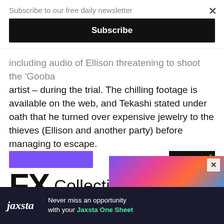Subscribe to our free daily newsletter
Subscribe
including audio of Ellison threatening to shoot the 'Gooba' artist – during the trial. The chilling footage is available on the web, and Tekashi stated under oath that he turned over expensive jewelry to the thieves (Ellison and another party) before managing to escape.
[Figure (other): FX Collection 3 advertisement banner with purple bar, NEW badge, FX logo, and tagline 'Audio effects you'll actually use']
[Figure (other): Colorful gradient image strip (partial ad)]
[Figure (other): Jaxsta advertisement: 'Never miss an opportunity with your Jaxsta One Sheet' on dark background]